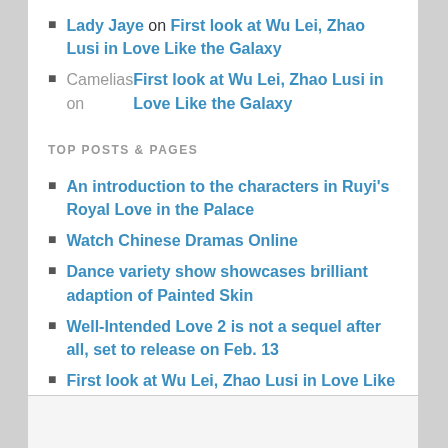Lady Jaye on First look at Wu Lei, Zhao Lusi in Love Like the Galaxy
Camelias on First look at Wu Lei, Zhao Lusi in Love Like the Galaxy
TOP POSTS & PAGES
An introduction to the characters in Ruyi's Royal Love in the Palace
Watch Chinese Dramas Online
Dance variety show showcases brilliant adaption of Painted Skin
Well-Intended Love 2 is not a sequel after all, set to release on Feb. 13
First look at Wu Lei, Zhao Lusi in Love Like the Galaxy